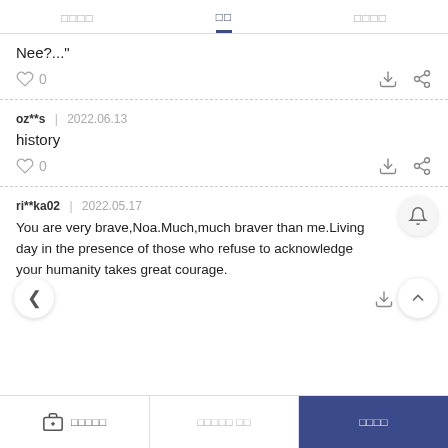□□□□  □□  □□□□
Nee?..."
♡ 0
oz**s  |  2022.06.13
history
♡ 0
ri**ka02  |  2022.05.17
You are very brave,Noa.Much,much braver than me.Living day in the presence of those who refuse to acknowledge your humanity takes great courage.
□□□□□  □□□□□ □□  □□□□